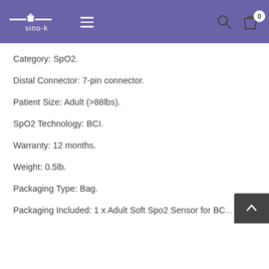sino-k
Category: SpO2.
Distal Connector: 7-pin connector.
Patient Size: Adult (>88lbs).
SpO2 Technology: BCI.
Warranty: 12 months.
Weight: 0.5lb.
Packaging Type: Bag.
Packaging Included: 1 x Adult Soft Spo2 Sensor for BC...